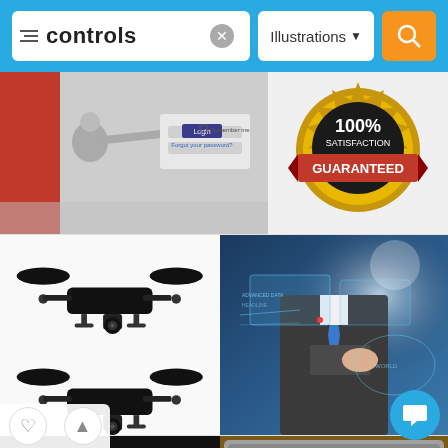[Figure (screenshot): Search bar UI with filter icon, search query 'controls', clear button, Illustrations dropdown, and orange search button on blue background]
[Figure (photo): 3D silver figure pressing a login screen with 'Remember me' checkbox and 'Forgot your password?' link on a grey/red background]
[Figure (illustration): 100% Satisfaction Guaranteed badge/seal in gold with red ribbon]
[Figure (illustration): Two black silhouette drone/quadcopter illustrations on white background]
[Figure (photo): Business man in suit touching futuristic digital interface with world map and data controls]
[Figure (illustration): Decorative crown with wings illustration on black background]
[Figure (illustration): Vintage audio/stereo control panel with dial knob, VU meter screen, and display in wooden panel]